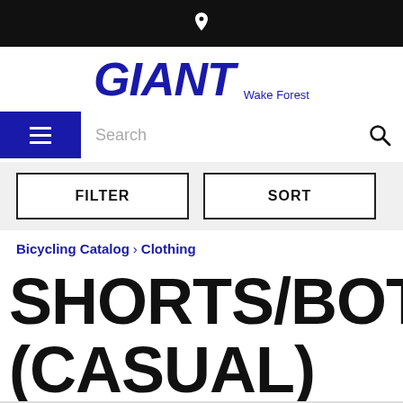GIANT Wake Forest
[Figure (screenshot): Navigation bar with hamburger menu, search field, and search icon]
FILTER   SORT
Bicycling Catalog > Clothing
SHORTS/BOTTOMS (CASUAL)